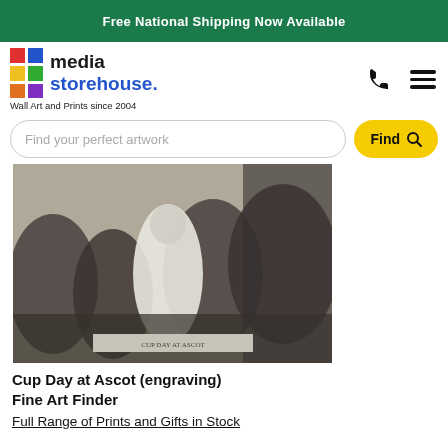Free National Shipping Now Available
[Figure (logo): Media Storehouse logo with colorful grid squares and text 'media storehouse.' and tagline 'Wall Art and Prints since 2004']
[Figure (screenshot): Search bar with placeholder 'Find your perfect artwork' and yellow 'Find' button with magnifying glass icon]
[Figure (photo): Black and white engraving of Cup Day at Ascot showing a crowded scene with figures in Victorian dress]
Cup Day at Ascot (engraving)
Fine Art Finder
Full Range of Prints and Gifts in Stock